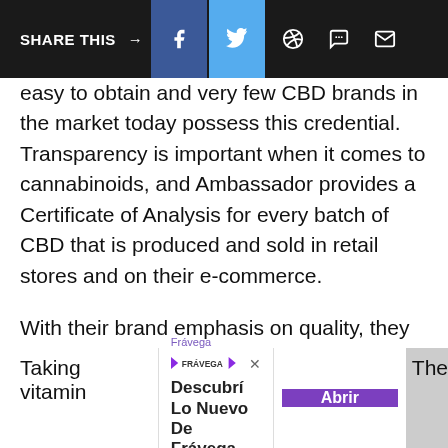SHARE THIS →  [Facebook] [Twitter] [WhatsApp] [Chat] [Email]
easy to obtain and very few CBD brands in the market today possess this credential. Transparency is important when it comes to cannabinoids, and Ambassador provides a Certificate of Analysis for every batch of CBD that is produced and sold in retail stores and on their e-commerce.
With their brand emphasis on quality, they have launched three CBD tincture products that address stress relief, anxiety, focus, pain and inflammation recovery. These three tinctures also correlate with their cultivation origins; Rionegro which is certified USDA Organic and the most potent, Medellín their high concentrate and Trelawny obsolete of THC.
Taking [ad] vitamin
[Figure (other): Advertisement banner for Frávega: 'Descubrí Lo Nuevo De Frávega' with Abrir button]